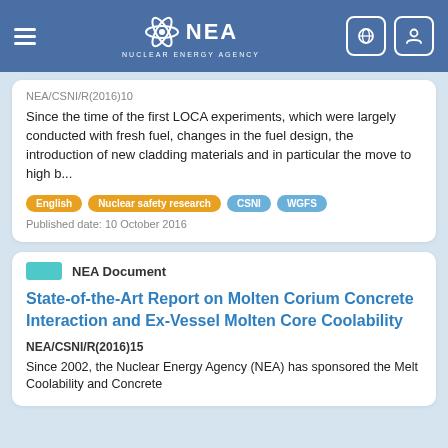NEA - Nuclear Energy Agency
NEA/CSNI/R(2016)10
Since the time of the first LOCA experiments, which were largely conducted with fresh fuel, changes in the fuel design, the introduction of new cladding materials and in particular the move to high b...
English
Nuclear safety research
CSNI
WGFS
Published date: 10 October 2016
NEA Document
State-of-the-Art Report on Molten Corium Concrete Interaction and Ex-Vessel Molten Core Coolability
NEA/CSNI/R(2016)15
Since 2002, the Nuclear Energy Agency (NEA) has sponsored the Melt Coolability and Concrete